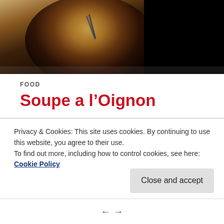[Figure (photo): Close-up photo of French onion soup in a dark bowl with melted cheese, dark background]
FOOD
Soupe a l’Oignon
By Mildred Jones Would you believe it, if I told you that French Onion Soup has its gastronomic roots from Ancient Rome! This simplest of meals is rich in beef stock and minced onions. The modern version of this wholesome dish took root in the beginnings of the 18th century with the tale of King Louis XV
Privacy & Cookies: This site uses cookies. By continuing to use this website, you agree to their use.
To find out more, including how to control cookies, see here: Cookie Policy